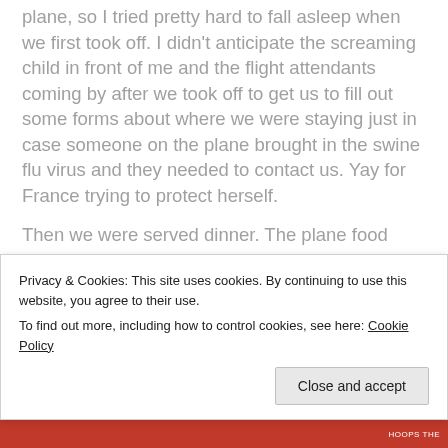plane, so I tried pretty hard to fall asleep when we first took off. I didn't anticipate the screaming child in front of me and the flight attendants coming by after we took off to get us to fill out some forms about where we were staying just in case someone on the plane brought in the swine flu virus and they needed to contact us. Yay for France trying to protect herself.
Then we were served dinner. The plane food wasn't bad, actually. I chose this pasta ravioli stuff, and it came with bread and crackers and a small brownie. Tasty. The movie “Yes Man” with Jim Carrey came on,
Privacy & Cookies: This site uses cookies. By continuing to use this website, you agree to their use. To find out more, including how to control cookies, see here: Cookie Policy
Close and accept